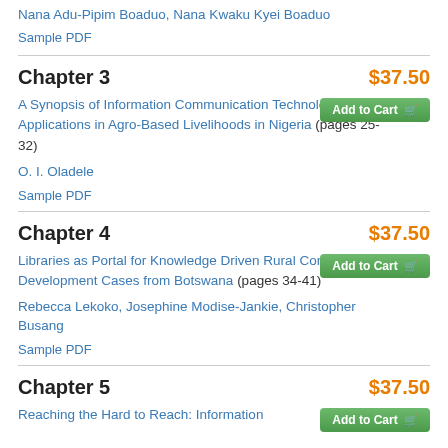Nana Adu-Pipim Boaduo, Nana Kwaku Kyei Boaduo
Sample PDF
Chapter 3
$37.50
Add to Cart
A Synopsis of Information Communication Technologies Applications in Agro-Based Livelihoods in Nigeria (pages 25-32)
O. I. Oladele
Sample PDF
Chapter 4
$37.50
Add to Cart
Libraries as Portal for Knowledge Driven Rural Community Development Cases from Botswana (pages 34-41)
Rebecca Lekoko, Josephine Modise-Jankie, Christopher Busang
Sample PDF
Chapter 5
$37.50
Add to Cart
Reaching the Hard to Reach: Information